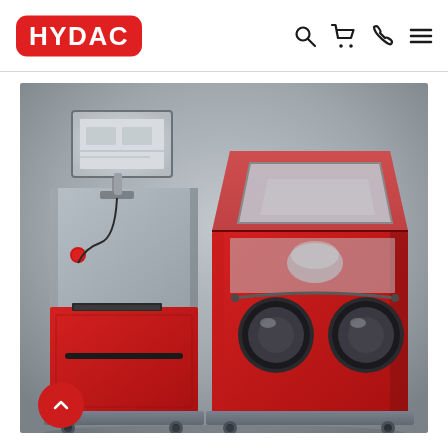HYDAC
[Figure (photo): HYDAC industrial testing/washing machine equipment consisting of two red and grey metal cabinets. Left unit has a monitor arm with screen, keyboard on top, and a red cabinet base with handle. Right unit is a red enclosure with a glass lid angled open, two circular glove ports on the front, and wheels. Both units sit on grey bases with casters against a grey studio background.]